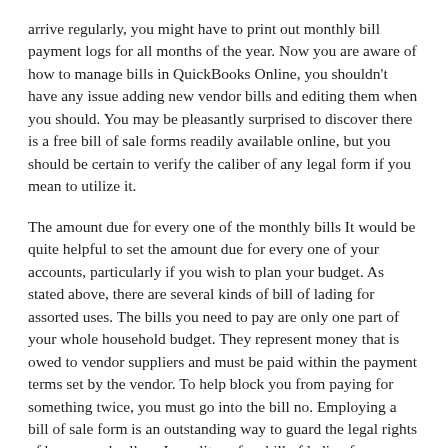arrive regularly, you might have to print out monthly bill payment logs for all months of the year. Now you are aware of how to manage bills in QuickBooks Online, you shouldn't have any issue adding new vendor bills and editing them when you should. You may be pleasantly surprised to discover there is a free bill of sale forms readily available online, but you should be certain to verify the caliber of any legal form if you mean to utilize it.
The amount due for every one of the monthly bills It would be quite helpful to set the amount due for every one of your accounts, particularly if you wish to plan your budget. As stated above, there are several kinds of bill of lading for assorted uses. The bills you need to pay are only one part of your whole household budget. They represent money that is owed to vendor suppliers and must be paid within the payment terms set by the vendor. To help block you from paying for something twice, you must go into the bill no. Employing a bill of sale form is an outstanding way to guard the legal rights of buyers and sellers. In reality, a free bill of lading form papers is available on the internet to earn the process even simpler.